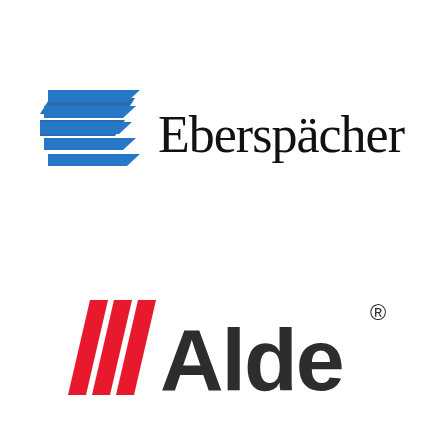[Figure (logo): Eberspächer logo: blue stacked parallelogram chevron symbol on left, 'Eberspächer' text in black serif-style font on right]
[Figure (logo): Alde logo: three red diagonal slash stripes on left, dark charcoal 'Alde' text in bold sans-serif with registered trademark symbol on right]